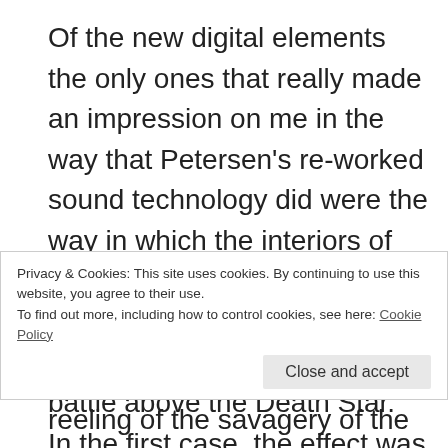Of the new digital elements the only ones that really made an impression on me in the way that Petersen's re-worked sound technology did were the way in which the interiors of the Bespin gas mine were opened up to reveal glorious exteriors, and the reworked battle above the Death Star.  In the first case, the effect was to mitigate the way the interior in the original had looked like just another anonymous space-age interior (are we on the Leia's cruiser?  the Falcon) and establish it as its own distinctive space, a place of beauty, an enclave
Privacy & Cookies: This site uses cookies. By continuing to use this website, you agree to their use.
To find out more, including how to control cookies, see here: Cookie Policy
Close and accept
reeling of the savagery of the ship-to-ship combat in a